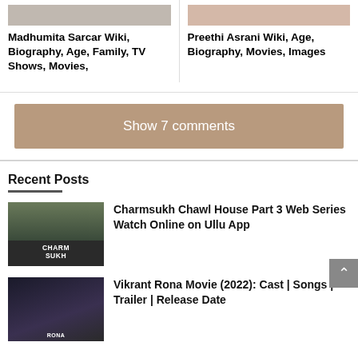Madhumita Sarcar Wiki, Biography, Age, Family, TV Shows, Movies,
Preethi Asrani Wiki, Age, Biography, Movies, Images
Show 7 comments
Recent Posts
Charmsukh Chawl House Part 3 Web Series Watch Online on Ullu App
Vikrant Rona Movie (2022): Cast | Songs | Trailer | Release Date